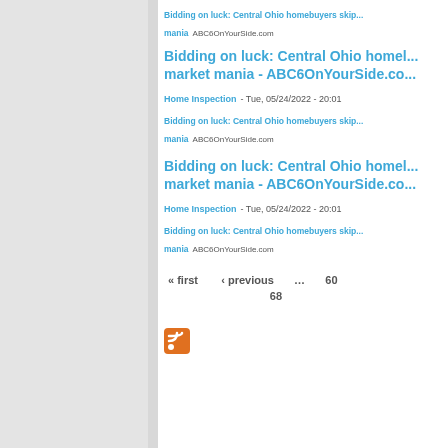Bidding on luck: Central Ohio homebuyers skip... mania  ABC6OnYourSide.com
Bidding on luck: Central Ohio homebuyers skip... market mania - ABC6OnYourSide.com
Home Inspection - Tue, 05/24/2022 - 20:01
Bidding on luck: Central Ohio homebuyers skip... mania  ABC6OnYourSide.com
Bidding on luck: Central Ohio homebuyers skip... market mania - ABC6OnYourSide.com
Home Inspection - Tue, 05/24/2022 - 20:01
Bidding on luck: Central Ohio homebuyers skip... mania  ABC6OnYourSide.com
« first  ‹ previous  …  60  68
[Figure (other): RSS feed orange icon]
Assurance First Home Inspections, Home Inspector in Somerset, Burnside, London, Nancy...